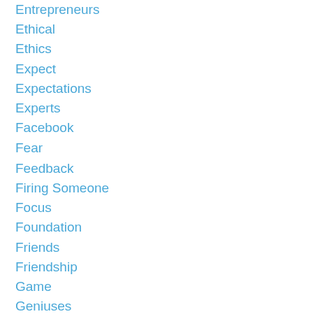Entrepreneurs
Ethical
Ethics
Expect
Expectations
Experts
Facebook
Fear
Feedback
Firing Someone
Focus
Foundation
Friends
Friendship
Game
Geniuses
George Washington
Goals
Google
Gospa
Gossip